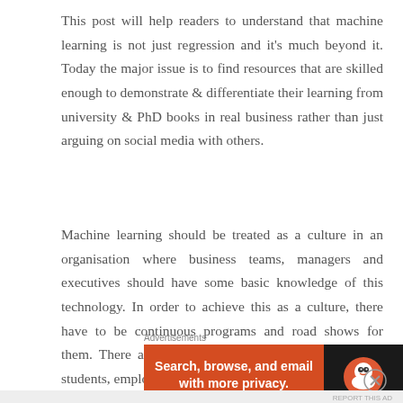This post will help readers to understand that machine learning is not just regression and it's much beyond it. Today the major issue is to find resources that are skilled enough to demonstrate & differentiate their learning from university & PhD books in real business rather than just arguing on social media with others.
Machine learning should be treated as a culture in an organisation where business teams, managers and executives should have some basic knowledge of this technology. In order to achieve this as a culture, there have to be continuous programs and road shows for them. There are many courses which are designed for students, employees with
Advertisements
[Figure (infographic): DuckDuckGo advertisement banner: orange left panel with text 'Search, browse, and email with more privacy. All in One Free App' and dark right panel with DuckDuckGo logo and name]